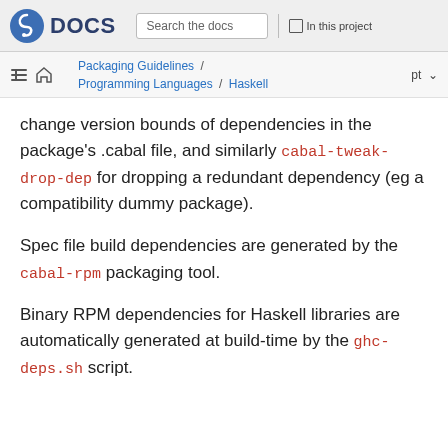Fedora DOCS | Search the docs | In this project
Packaging Guidelines / Programming Languages / Haskell | pt
change version bounds of dependencies in the package's .cabal file, and similarly cabal-tweak-drop-dep for dropping a redundant dependency (eg a compatibility dummy package).
Spec file build dependencies are generated by the cabal-rpm packaging tool.
Binary RPM dependencies for Haskell libraries are automatically generated at build-time by the ghc-deps.sh script.